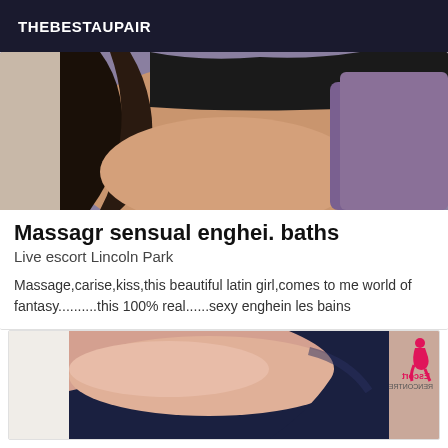THEBESTAUPAIR
[Figure (photo): Partial view of a person sitting, dark hair and dark swimwear visible against a grey/purple background]
Massagr sensual enghei. baths
Live escort Lincoln Park
Massage,carise,kiss,this beautiful latin girl,comes to me world of fantasy..........this 100% real......sexy enghein les bains
[Figure (photo): Partial view of a person's thigh/leg in dark latex/vinyl clothing with an Escort Rencontre logo watermark in top right corner]